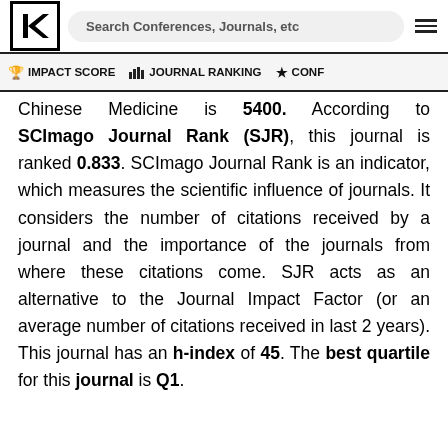Search Conferences, Journals, etc
IMPACT SCORE  |  JOURNAL RANKING  |  CONF
Chinese Medicine is 5400. According to SCImago Journal Rank (SJR), this journal is ranked 0.833. SCImago Journal Rank is an indicator, which measures the scientific influence of journals. It considers the number of citations received by a journal and the importance of the journals from where these citations come. SJR acts as an alternative to the Journal Impact Factor (or an average number of citations received in last 2 years). This journal has an h-index of 45. The best quartile for this journal is Q1.